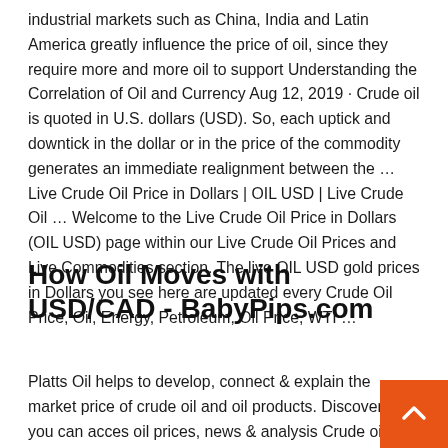industrial markets such as China, India and Latin America greatly influence the price of oil, since they require more and more oil to support Understanding the Correlation of Oil and Currency Aug 12, 2019 · Crude oil is quoted in U.S. dollars (USD). So, each uptick and downtick in the dollar or in the price of the commodity generates an immediate realignment between the … Live Crude Oil Price in Dollars | OIL USD | Live Crude Oil … Welcome to the Live Crude Oil Price in Dollars (OIL USD) page within our Live Crude Oil Prices and Live Commodities section. The live OIL USD gold prices in Dollars you see here are updated every Crude Oil Price, Oil, Energy, Petroleum, Oil Price, WTI …
How Oil Moves with USD/CAD - BabyPips.com
Platts Oil helps to develop, connect & explain the market price of crude oil and oil products. Discover how you can access oil prices, news & analysis Crude oil [USD/barrel] 6 months